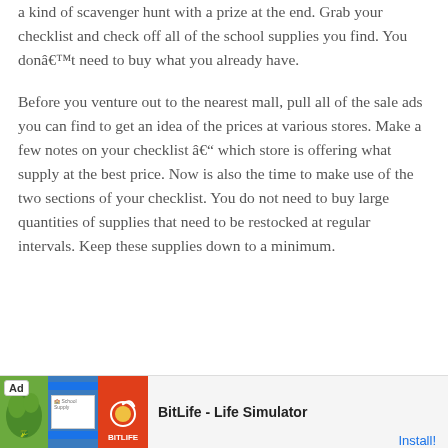a kind of scavenger hunt with a prize at the end. Grab your checklist and check off all of the school supplies you find. You donât need to buy what you already have.
Before you venture out to the nearest mall, pull all of the sale ads you can find to get an idea of the prices at various stores. Make a few notes on your checklist â– which store is offering what supply at the best price. Now is also the time to make use of the two sections of your checklist. You do not need to buy large quantities of supplies that need to be restocked at regular intervals. Keep these supplies down to a minimum.
[Figure (other): Advertisement banner for BitLife - Life Simulator app with Install button]